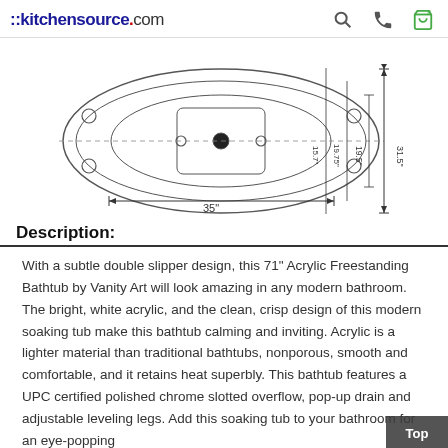::kitchensource.com
[Figure (engineering-diagram): Top-view engineering/schematic diagram of a freestanding bathtub showing dimensions: 35" width, 31.5" depth, 19.5", 19.75", 15.7" internal measurements]
Description:
With a subtle double slipper design, this 71" Acrylic Freestanding Bathtub by Vanity Art will look amazing in any modern bathroom. The bright, white acrylic, and the clean, crisp design of this modern soaking tub make this bathtub calming and inviting. Acrylic is a lighter material than traditional bathtubs, nonporous, smooth and comfortable, and it retains heat superbly. This bathtub features a UPC certified polished chrome slotted overflow, pop-up drain and adjustable leveling legs. Add this soaking tub to your bathroom for an eye-popping